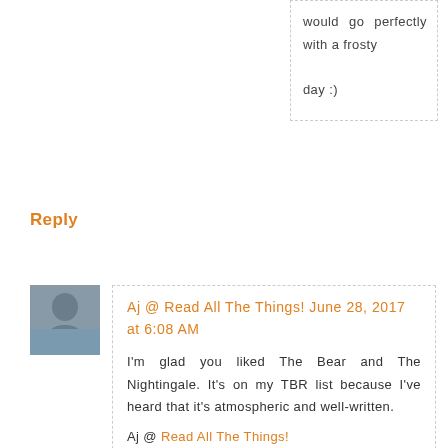would go perfectly with a frosty day :)
Reply
Aj @ Read All The Things! June 28, 2017 at 6:08 AM
I'm glad you liked The Bear and The Nightingale. It's on my TBR list because I've heard that it's atmospheric and well-written.
Aj @ Read All The Things!